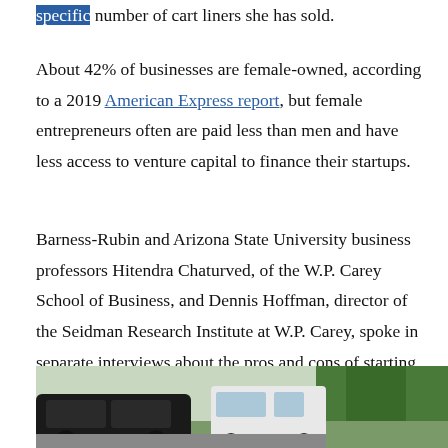specific number of cart liners she has sold.
About 42% of businesses are female-owned, according to a 2019 American Express report, but female entrepreneurs often are paid less than men and have less access to venture capital to finance their startups.
Barness-Rubin and Arizona State University business professors Hitendra Chaturved, of the W.P. Carey School of Business, and Dennis Hoffman, director of the Seidman Research Institute at W.P. Carey, spoke in separate interviews about the pros and cons of starting a business during COVID-19, female-owned businesses, and what makes a business have staying power. Hoffman spoke via email.
[Figure (photo): Outdoor photo showing people near a dark car on the left, a white van in the middle, and trees in the background on the right.]